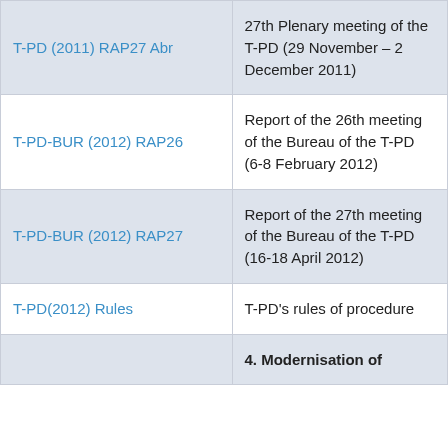| Document | Description |
| --- | --- |
| T-PD (2011) RAP27 Abr | 27th Plenary meeting of the T-PD (29 November – 2 December 2011) |
| T-PD-BUR (2012) RAP26 | Report of the 26th meeting of the Bureau of the T-PD (6-8 February 2012) |
| T-PD-BUR (2012) RAP27 | Report of the 27th meeting of the Bureau of the T-PD (16-18 April 2012) |
| T-PD(2012) Rules | T-PD's rules of procedure |
|  | 4. Modernisation of |